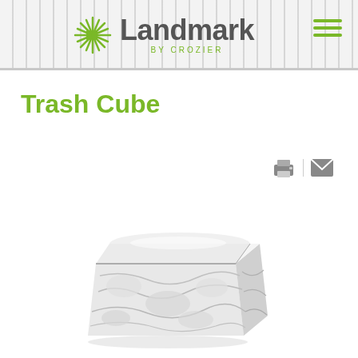Landmark by Crozier
Trash Cube
[Figure (photo): A cube-shaped sculpture or seat made from compacted crumpled white paper/trash, styled as a stool or art object, photographed on white background.]